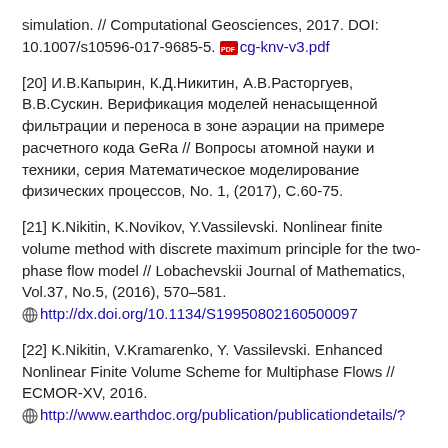simulation. // Computational Geosciences, 2017. DOI: 10.1007/s10596-017-9685-5. [pdf] cg-knv-v3.pdf
[20] И.В.Капырин, К.Д.Никитин, А.В.Расторгуев, В.В.Сускин. Верификация моделей ненасыщенной фильтрации и переноса в зоне аэрации на примере расчетного кода GeRa // Вопросы атомной науки и техники, серия Математическое моделирование физических процессов, No. 1, (2017), С.60-75.
[21] K.Nikitin, K.Novikov, Y.Vassilevski. Nonlinear finite volume method with discrete maximum principle for the two-phase flow model // Lobachevskii Journal of Mathematics, Vol.37, No.5, (2016), 570–581. http://dx.doi.org/10.1134/S19950802160500097
[22] K.Nikitin, V.Kramarenko, Y. Vassilevski. Enhanced Nonlinear Finite Volume Scheme for Multiphase Flows // ECMOR-XV, 2016. http://www.earthdoc.org/publication/publicationdetails/?